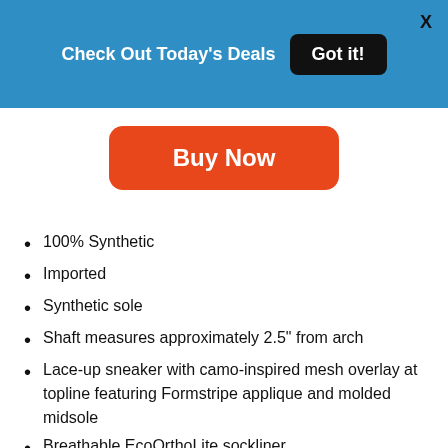Check Out Today's Deals  Got it!
[Figure (screenshot): Orange 'Buy Now' button]
100% Synthetic
Imported
Synthetic sole
Shaft measures approximately 2.5" from arch
Lace-up sneaker with camo-inspired mesh overlay at topline featuring Formstripe applique and molded midsole
Breathable EcoOrthoLite sockliner